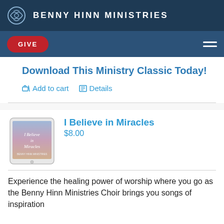BENNY HINN MINISTRIES
GIVE
Download This Ministry Classic Today!
Add to cart   Details
[Figure (photo): Product image of 'I Believe in Miracles' shown on a tablet device, with a soft pink and purple background cover design]
I Believe in Miracles
$8.00
Experience the healing power of worship where you go as the Benny Hinn Ministries Choir brings you songs of inspiration